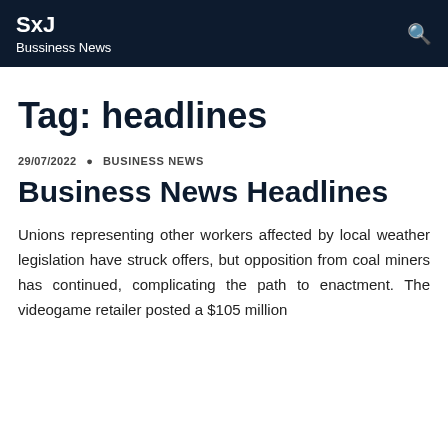SxJ
Bussiness News
Tag: headlines
29/07/2022 • BUSINESS NEWS
Business News Headlines
Unions representing other workers affected by local weather legislation have struck offers, but opposition from coal miners has continued, complicating the path to enactment. The videogame retailer posted a $105 million